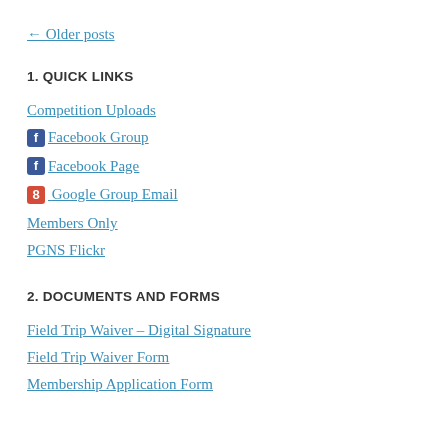← Older posts
1. QUICK LINKS
Competition Uploads
Facebook Group
Facebook Page
Google Group Email
Members Only
PGNS Flickr
2. DOCUMENTS AND FORMS
Field Trip Waiver – Digital Signature
Field Trip Waiver Form
Membership Application Form